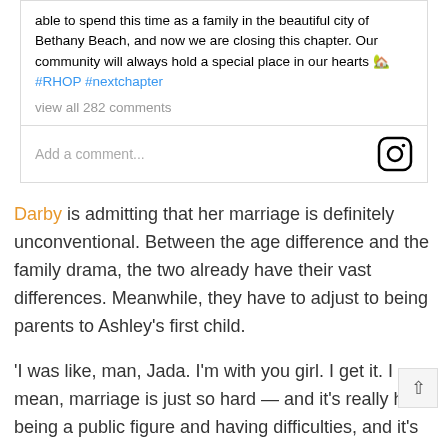[Figure (screenshot): Instagram post snippet showing caption text with hashtags #RHOP #nextchapter, view all 282 comments, and Add a comment field with Instagram camera icon]
Darby is admitting that her marriage is definitely unconventional. Between the age difference and the family drama, the two already have their vast differences. Meanwhile, they have to adjust to being parents to Ashley's first child.
'I was like, man, Jada. I'm with you girl. I get it. I mean, marriage is just so hard — and it's really hard being a public figure and having difficulties, and it's even more difficult when you decide to talk about them and say some things that aren'